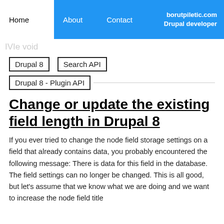Home | About | Contact | borutpiletic.com Drupal developer
Drupal 8
Search API
Drupal 8 - Plugin API
Change or update the existing field length in Drupal 8
If you ever tried to change the node field storage settings on a field that already contains data, you probably encountered the following message: There is data for this field in the database. The field settings can no longer be changed. This is all good, but let's assume that we know what we are doing and we want to increase the node field title